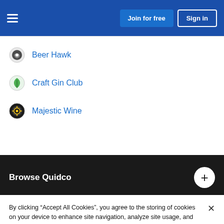Join for free | Sign in
Beer Hawk
Craft Gin Club
Majestic Wine
Browse Quidco
By clicking “Accept All Cookies”, you agree to the storing of cookies on your device to enhance site navigation, analyze site usage, and assist in our marketing efforts. Cookie Policy
Accept All Cookies